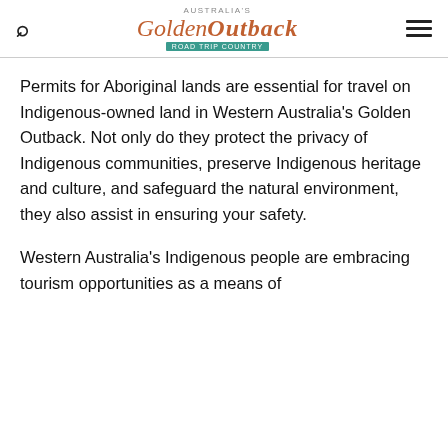Australia's Golden Outback — Road Trip Country
Permits for Aboriginal lands are essential for travel on Indigenous-owned land in Western Australia's Golden Outback. Not only do they protect the privacy of Indigenous communities, preserve Indigenous heritage and culture, and safeguard the natural environment, they also assist in ensuring your safety.
Western Australia's Indigenous people are embracing tourism opportunities as a means of